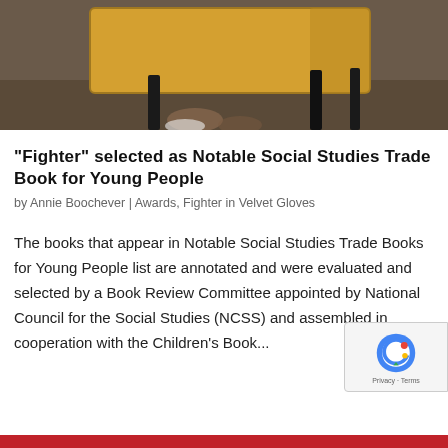[Figure (photo): Classroom photo showing a student desk from below/behind angle, wooden desk surface visible with metal chair legs]
“Fighter” selected as Notable Social Studies Trade Book for Young People
by Annie Boochever | Awards, Fighter in Velvet Gloves
The books that appear in Notable Social Studies Trade Books for Young People list are annotated and were evaluated and selected by a Book Review Committee appointed by National Council for the Social Studies (NCSS) and assembled in cooperation with the Children’s Book...